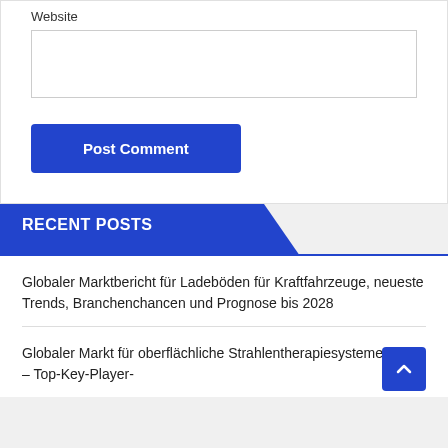Website
[Figure (screenshot): A website text input box (empty white rectangle with border)]
[Figure (screenshot): A blue 'Post Comment' button]
RECENT POSTS
Globaler Marktbericht für Ladeböden für Kraftfahrzeuge, neueste Trends, Branchenchancen und Prognose bis 2028
Globaler Markt für oberflächliche Strahlentherapiesysteme 2022 – Top-Key-Player-